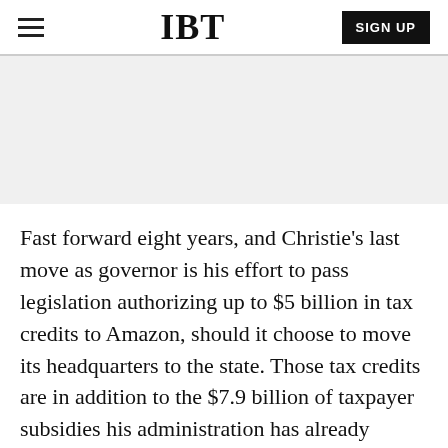IBT | SIGN UP
[Figure (other): Gray advertisement placeholder area]
Fast forward eight years, and Christie’s last move as governor is his effort to pass legislation authorizing up to $5 billion in tax credits to Amazon, should it choose to move its headquarters to the state. Those tax credits are in addition to the $7.9 billion of taxpayer subsidies his administration has already authroized, according to government